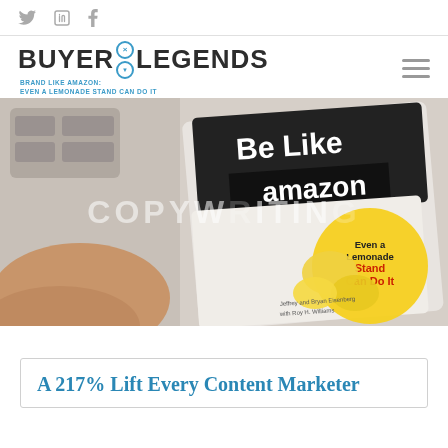Social icons: Twitter, LinkedIn, Facebook
[Figure (logo): Buyer Legends logo with tagline: BRAND LIKE AMAZON: EVEN A LEMONADE STAND CAN DO IT]
[Figure (photo): Hero banner showing a book titled 'Be Like Amazon - Even a Lemonade Stand Can Do It' by Jeffrey and Bryan Eisenberg with Roy H. Williams, alongside a hand and keyboard. Overlay text reads COPYWRITING.]
A 217% Lift Every Content Marketer